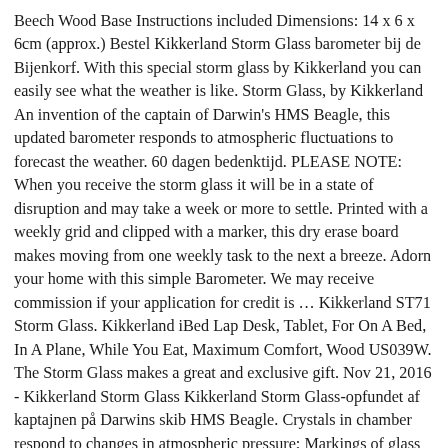Beech Wood Base Instructions included Dimensions: 14 x 6 x 6cm (approx.) Bestel Kikkerland Storm Glass barometer bij de Bijenkorf. With this special storm glass by Kikkerland you can easily see what the weather is like. Storm Glass, by Kikkerland An invention of the captain of Darwin's HMS Beagle, this updated barometer responds to atmospheric fluctuations to forecast the weather. 60 dagen bedenktijd. PLEASE NOTE: When you receive the storm glass it will be in a state of disruption and may take a week or more to settle. Printed with a weekly grid and clipped with a marker, this dry erase board makes moving from one weekly task to the next a breeze. Adorn your home with this simple Barometer. We may receive commission if your application for credit is … Kikkerland ST71 Storm Glass. Kikkerland iBed Lap Desk, Tablet, For On A Bed, In A Plane, While You Eat, Maximum Comfort, Wood US039W. The Storm Glass makes a great and exclusive gift. Nov 21, 2016 - Kikkerland Storm Glass Kikkerland Storm Glass-opfundet af kaptajnen på Darwins skib HMS Beagle. Crystals in chamber respond to changes in atmospheric pressure; Markings of glass indicate forecast; Solid Beech wood base; Makes a great decorative piece; Crystals are contained in glass tube; View On Amazon Price incl. Because if it's inventive, witty, and smartly designed, Kikkerland Design will bring it to you. Or you can just stay home. vind je Kikkerland Stormglas op vtwonen by fonQ eenvoudig besteld & snel geleverd ook avondbezorging » shop de collectie! Condition is "New" & unopened. Condition is "New" &